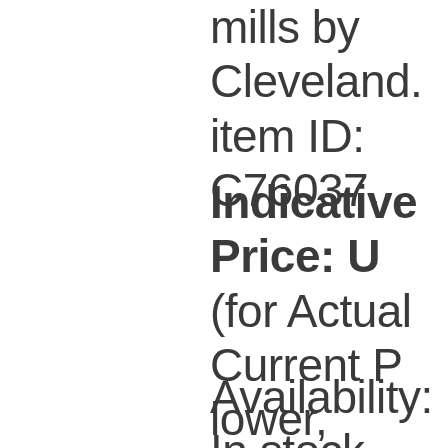mills by Cleveland. item ID: C76037.
Indicative Price: U (for Actual Current P lower, please click below)
Availability: In stock lasts.